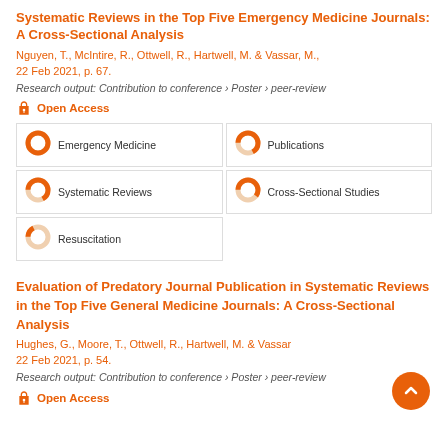Systematic Reviews in the Top Five Emergency Medicine Journals: A Cross-Sectional Analysis
Nguyen, T., McIntire, R., Ottwell, R., Hartwell, M. & Vassar, M., 22 Feb 2021, p. 67.
Research output: Contribution to conference › Poster › peer-review
Open Access
[Figure (infographic): Keyword bubbles with donut charts: Emergency Medicine 100%, Publications 67%, Systematic Reviews 67%, Cross-Sectional Studies 60%, Resuscitation 17%]
Evaluation of Predatory Journal Publication in Systematic Reviews in the Top Five General Medicine Journals: A Cross-Sectional Analysis
Hughes, G., Moore, T., Ottwell, R., Hartwell, M. & Vassar, 22 Feb 2021, p. 54.
Research output: Contribution to conference › Poster › peer-review
Open Access